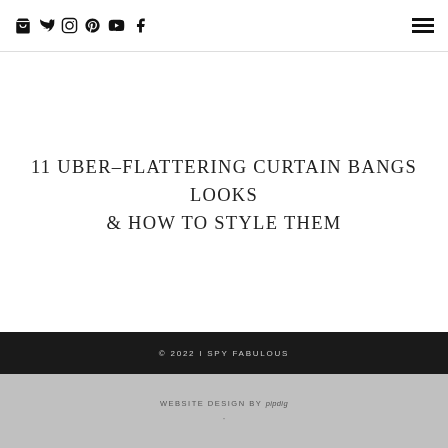Navigation icons: bag, twitter, instagram, pinterest, youtube, facebook; hamburger menu
11 UBER–FLATTERING CURTAIN BANGS LOOKS & HOW TO STYLE THEM
© 2022 I SPY FABULOUS
WEBSITE DESIGN BY pipdig